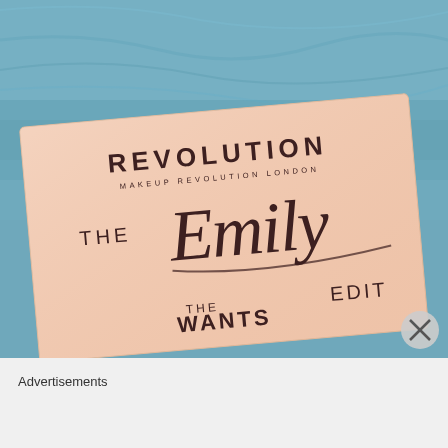[Figure (photo): Photo of a Makeup Revolution 'The Emily Edit - The Wants' eyeshadow palette box sitting on a blue-teal fluffy blanket/fur surface. The palette has a pale pink/peach background with dark brown text reading 'REVOLUTION / MAKEUP REVOLUTION LONDON' at the top, 'THE Emily' in mixed script and sans-serif, and 'THE WANTS EDIT' at the bottom.]
Advertisements